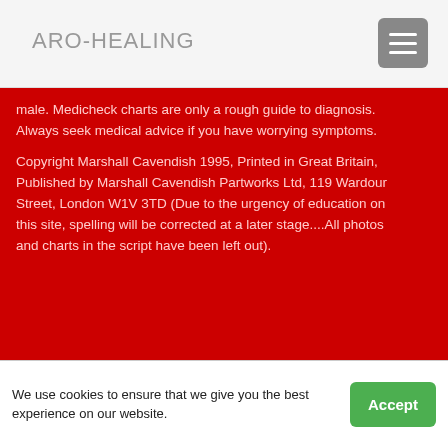ARO-HEALING
male. Medicheck charts are only a rough guide to diagnosis. Always seek medical advice if you have worrying symptoms.
Copyright Marshall Cavendish 1995, Printed in Great Britain, Published by Marshall Cavendish Partworks Ltd, 119 Wardour Street, London W1V 3TD (Due to the urgency of education on this site, spelling will be corrected at a later stage....All photos and charts in the script have been left out).
Back
Back to top
We use cookies to ensure that we give you the best experience on our website.